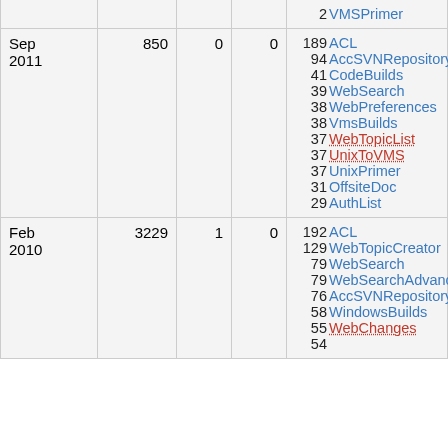| Date | Views | Col3 | Col4 | Top pages |
| --- | --- | --- | --- | --- |
| (partial top) |  |  |  | 2 VMSPrimer |
| Sep 2011 | 850 | 0 | 0 | 189 ACL
94 AccSVNRepository
41 CodeBuilds
39 WebSearch
38 WebPreferences
38 VmsBuilds
37 WebTopicList
37 UnixToVMS
37 UnixPrimer
31 OffsiteDoc
29 AuthList |
| Feb 2010 | 3229 | 1 | 0 | 192 ACL
129 WebTopicCreator
79 WebSearch
79 WebSearchAdvanced
76 AccSVNRepository
58 WindowsBuilds
55 WebChanges
54 |